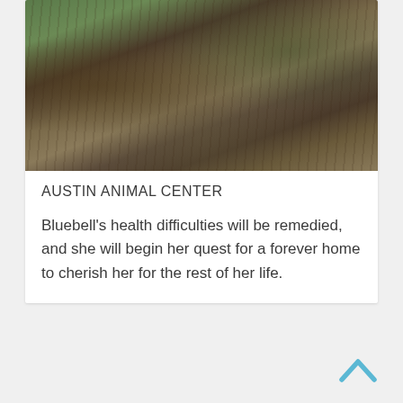[Figure (photo): Outdoor nature photo showing tree trunks and leaf litter on the ground, blurred/soft focus]
AUSTIN ANIMAL CENTER
Bluebell’s health difficulties will be remedied, and she will begin her quest for a forever home to cherish her for the rest of her life.